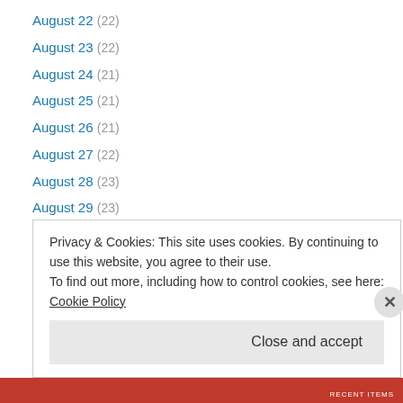August 22 (22)
August 23 (22)
August 24 (21)
August 25 (21)
August 26 (21)
August 27 (22)
August 28 (23)
August 29 (23)
August 3 (21)
August 30 (22)
August 31 (21)
August 4 (21)
August 5 (21)
Privacy & Cookies: This site uses cookies. By continuing to use this website, you agree to their use. To find out more, including how to control cookies, see here: Cookie Policy
Close and accept
RECENT ITEMS